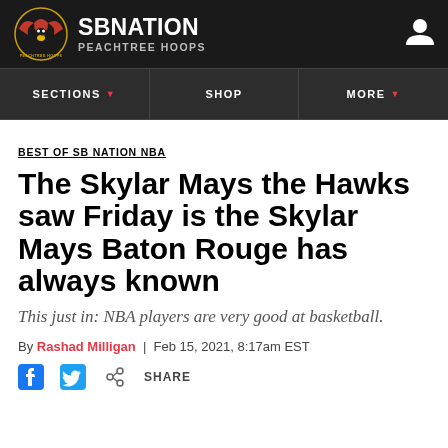SB Nation – Peachtree Hoops
SECTIONS | SHOP | MORE
BEST OF SB NATION NBA
The Skylar Mays the Hawks saw Friday is the Skylar Mays Baton Rouge has always known
This just in: NBA players are very good at basketball.
By Rashad Milligan | Feb 15, 2021, 8:17am EST